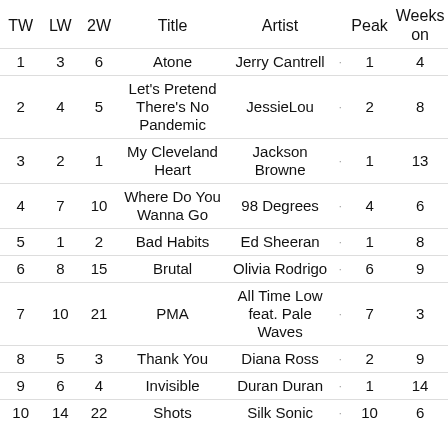| TW | LW | 2W | Title | Artist |  | Peak | Weeks on |
| --- | --- | --- | --- | --- | --- | --- | --- |
| 1 | 3 | 6 | Atone | Jerry Cantrell | · | 1 | 4 |
| 2 | 4 | 5 | Let's Pretend There's No Pandemic | JessieLou | · | 2 | 8 |
| 3 | 2 | 1 | My Cleveland Heart | Jackson Browne | · | 1 | 13 |
| 4 | 7 | 10 | Where Do You Wanna Go | 98 Degrees | · | 4 | 6 |
| 5 | 1 | 2 | Bad Habits | Ed Sheeran | · | 1 | 8 |
| 6 | 8 | 15 | Brutal | Olivia Rodrigo | · | 6 | 9 |
| 7 | 10 | 21 | PMA | All Time Low feat. Pale Waves | · | 7 | 3 |
| 8 | 5 | 3 | Thank You | Diana Ross | · | 2 | 9 |
| 9 | 6 | 4 | Invisible | Duran Duran | · | 1 | 14 |
| 10 | 14 | 22 | Shots | Silk Sonic | · | 10 | 6 |